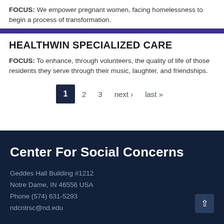FOCUS: We empower pregnant women, facing homelessness to begin a process of transformation.
HEALTHWIN SPECIALIZED CARE
FOCUS: To enhance, through volunteers, the quality of life of those residents they serve through their music, laughter, and friendships.
1  2  3  next ›  last »
Center For Social Concerns
Geddes Hall Building #1212
Notre Dame, IN 46556 USA
Phone (574) 631-5293
ndcntrsc@nd.edu